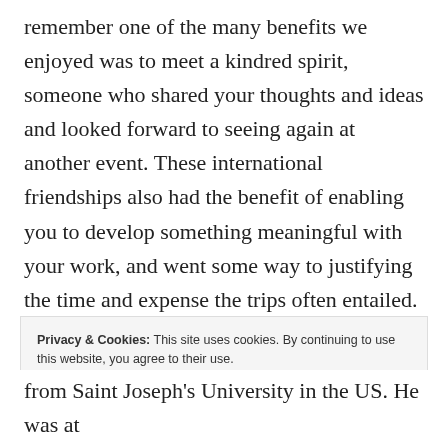remember one of the many benefits we enjoyed was to meet a kindred spirit, someone who shared your thoughts and ideas and looked forward to seeing again at another event. These international friendships also had the benefit of enabling you to develop something meaningful with your work, and went some way to justifying the time and expense the trips often entailed.
Privacy & Cookies: This site uses cookies. By continuing to use this website, you agree to their use. To find out more, including how to control cookies, see here: Cookie Policy
Close and accept
from Saint Joseph's University in the US. He was at